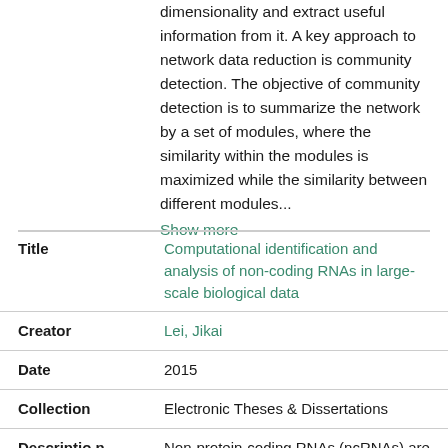dimensionality and extract useful information from it. A key approach to network data reduction is community detection. The objective of community detection is to summarize the network by a set of modules, where the similarity within the modules is maximized while the similarity between different modules... Show more
| Field | Value |
| --- | --- |
| Title | Computational identification and analysis of non-coding RNAs in large-scale biological data |
| Creator | Lei, Jikai |
| Date | 2015 |
| Collection | Electronic Theses & Dissertations |
| Description | Non-protein-coding RNAs (ncRNAs) are RNA molecules that function directly at the level of RNA without translating into |